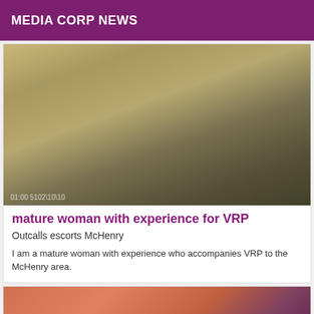MEDIA CORP NEWS
[Figure (photo): Photo of a woman on a bed, timestamp 01/01/2015 00:10 visible at bottom left]
mature woman with experience for VRP
Outcalls escorts McHenry
I am a mature woman with experience who accompanies VRP to the McHenry area.
[Figure (photo): Partial photo of a person, cropped view]